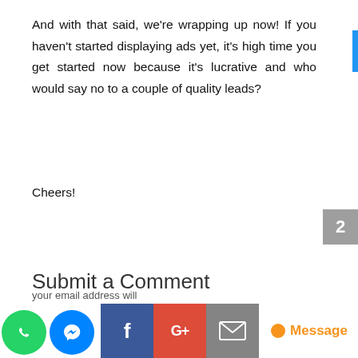And with that said, we're wrapping up now! If you haven't started displaying ads yet, it's high time you get started now because it's lucrative and who would say no to a couple of quality leads?
Cheers!
Submit a Comment
[Figure (other): Social sharing buttons bar: WhatsApp (green circle), Messenger (blue circle), Facebook (blue), Google+ (red), Email (gray), and a Message button with orange dot and text]